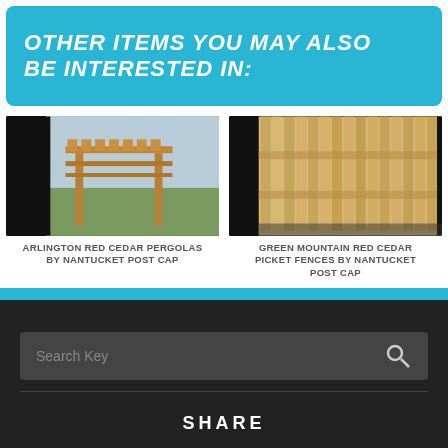OTHER ITEMS YOU MAY ALSO BE INTERESTED IN:
[Figure (photo): Arlington Red Cedar Pergola by Nantucket Post Cap - wooden pergola structure outdoors]
ARLINGTON RED CEDAR PERGOLAS BY NANTUCKET POST CAP
[Figure (photo): Green Mountain Red Cedar Picket Fences by Nantucket Post Cap - cedar fence panels]
GREEN MOUNTAIN RED CEDAR PICKET FENCES BY NANTUCKET POST CAP
Search Key
SHARE